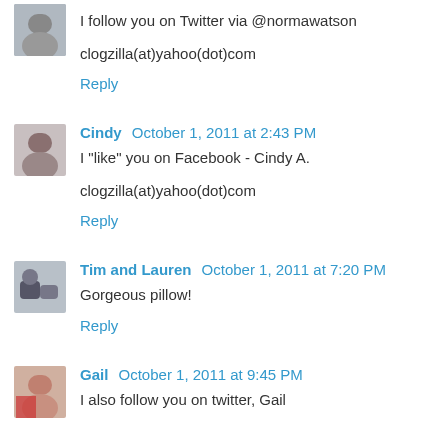I follow you on Twitter via @normawatson
clogzilla(at)yahoo(dot)com
Reply
Cindy  October 1, 2011 at 2:43 PM
I "like" you on Facebook - Cindy A.
clogzilla(at)yahoo(dot)com
Reply
Tim and Lauren  October 1, 2011 at 7:20 PM
Gorgeous pillow!
Reply
Gail  October 1, 2011 at 9:45 PM
I also follow you on twitter, Gail